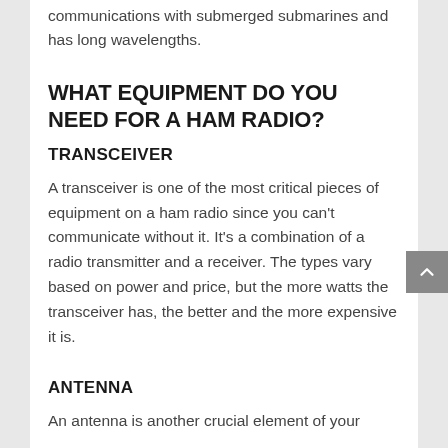communications with submerged submarines and has long wavelengths.
WHAT EQUIPMENT DO YOU NEED FOR A HAM RADIO?
TRANSCEIVER
A transceiver is one of the most critical pieces of equipment on a ham radio since you can't communicate without it. It's a combination of a radio transmitter and a receiver. The types vary based on power and price, but the more watts the transceiver has, the better and the more expensive it is.
ANTENNA
An antenna is another crucial element of your